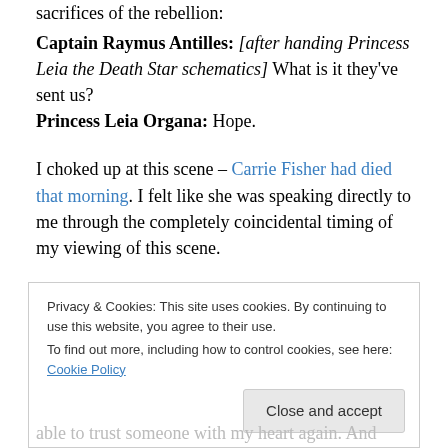sacrifices of the rebellion:
Captain Raymus Antilles: [after handing Princess Leia the Death Star schematics] What is it they've sent us?
Princess Leia Organa: Hope.
I choked up at this scene – Carrie Fisher had died that morning. I felt like she was speaking directly to me through the completely coincidental timing of my viewing of this scene.
Let me back up…I've been recovering from a broken heart…from repeated heartbreak at the hands of someone
Privacy & Cookies: This site uses cookies. By continuing to use this website, you agree to their use.
To find out more, including how to control cookies, see here: Cookie Policy
able to trust someone with my heart again. And them,